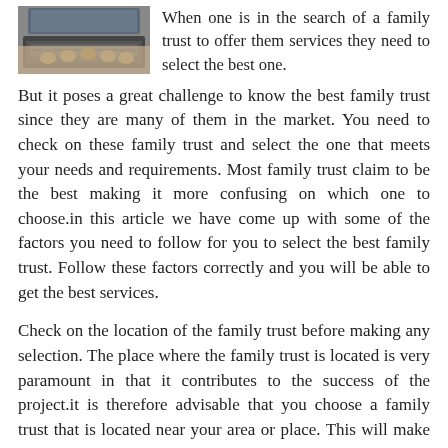[Figure (photo): A person's hands typing on a laptop keyboard, viewed from above at an angle.]
When one is in the search of a family trust to offer them services they need to select the best one. But it poses a great challenge to know the best family trust since they are many of them in the market. You need to check on these family trust and select the one that meets your needs and requirements. Most family trust claim to be the best making it more confusing on which one to choose.in this article we have come up with some of the factors you need to follow for you to select the best family trust. Follow these factors correctly and you will be able to get the best services.
Check on the location of the family trust before making any selection. The place where the family trust is located is very paramount in that it contributes to the success of the project.it is therefore advisable that you choose a family trust that is located near your area or place. This will make it cheaper for you when you want to reach the family trust any time since you will not be required to travel. Avoid selecting a family trust that is far from your place since it will be costly and time consuming that in case of an emergency you will not reach